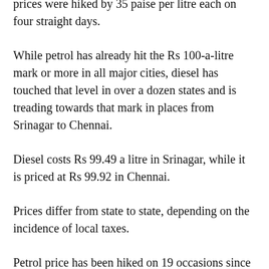prices were hiked by 35 paise per litre each on four straight days.
While petrol has already hit the Rs 100-a-litre mark or more in all major cities, diesel has touched that level in over a dozen states and is treading towards that mark in places from Srinagar to Chennai.
Diesel costs Rs 99.49 a litre in Srinagar, while it is priced at Rs 99.92 in Chennai.
Prices differ from state to state, depending on the incidence of local taxes.
Petrol price has been hiked on 19 occasions since September 28, when a three-week-long hiatus in rate revision ended. In all, prices have gone up by Rs 5.7 a litre.